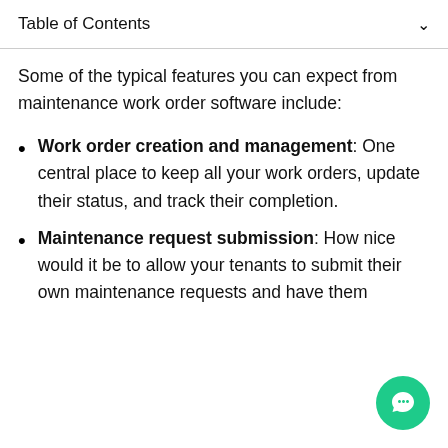Table of Contents
Some of the typical features you can expect from maintenance work order software include:
Work order creation and management: One central place to keep all your work orders, update their status, and track their completion.
Maintenance request submission: How nice would it be to allow your tenants to submit their own maintenance requests and have them